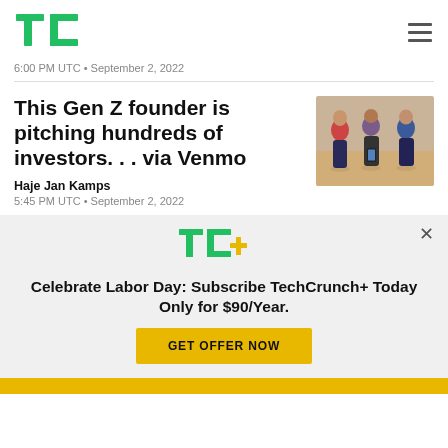TechCrunch logo and navigation menu
6:00 PM UTC • September 2, 2022
This Gen Z founder is pitching hundreds of investors. . . via Venmo
Haje Jan Kamps
5:45 PM UTC • September 2, 2022
[Figure (photo): Group of young people looking at smartphones from above]
Celebrate Labor Day: Subscribe TechCrunch+ Today Only for $90/Year.
GET OFFER NOW